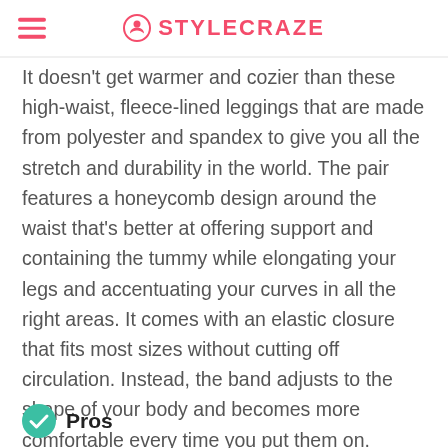STYLECRAZE
It doesn't get warmer and cozier than these high-waist, fleece-lined leggings that are made from polyester and spandex to give you all the stretch and durability in the world. The pair features a honeycomb design around the waist that's better at offering support and containing the tummy while elongating your legs and accentuating your curves in all the right areas. It comes with an elastic closure that fits most sizes without cutting off circulation. Instead, the band adjusts to the shape of your body and becomes more comfortable every time you put them on.
Pros